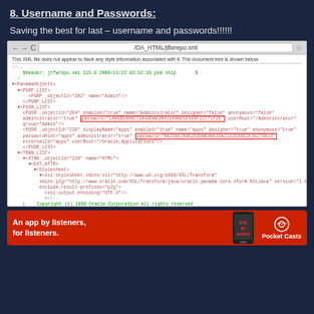8. Username and Passwords:
Saving the best for last – username and passwords!!!!!!
[Figure (screenshot): Browser screenshot showing XML file jtfwrepo.xml with highlighted password fields for Administrator and apps users in Oracle Panama objects configuration.]
[Figure (infographic): Pocket Casts advertisement: An app by listeners, for listeners.]